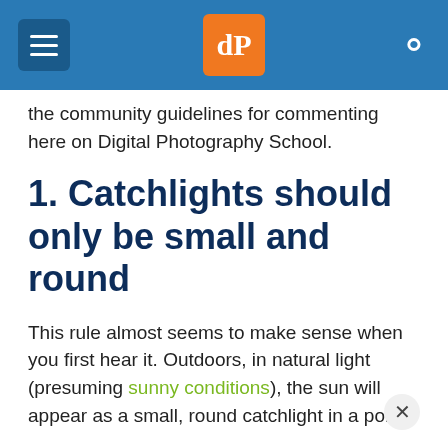dPS navigation header with hamburger menu, logo, and search icon
the community guidelines for commenting here on Digital Photography School.
1. Catchlights should only be small and round
This rule almost seems to make sense when you first hear it. Outdoors, in natural light (presuming sunny conditions), the sun will appear as a small, round catchlight in a portrai